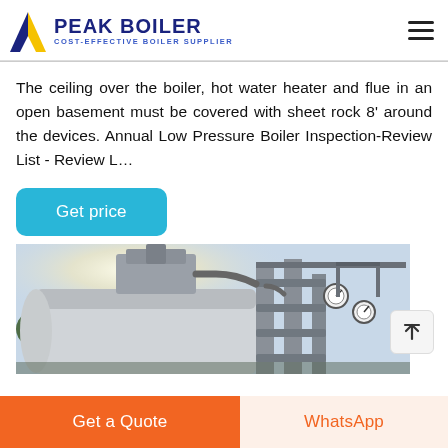PEAK BOILER COST-EFFECTIVE BOILER SUPPLIER
The ceiling over the boiler, hot water heater and flue in an open basement must be covered with sheet rock 8' around the devices. Annual Low Pressure Boiler Inspection-Review List - Review L…
Get price
[Figure (photo): Industrial boiler unit photographed outdoors, showing large cylindrical boiler body with pipes, gauges, and metal framework, backlit by sunlight with trees visible in background.]
Get a Quote
WhatsApp